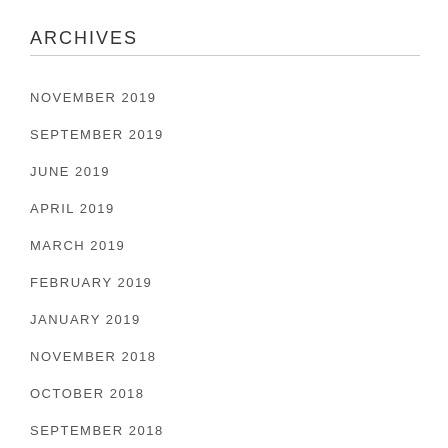ARCHIVES
NOVEMBER 2019
SEPTEMBER 2019
JUNE 2019
APRIL 2019
MARCH 2019
FEBRUARY 2019
JANUARY 2019
NOVEMBER 2018
OCTOBER 2018
SEPTEMBER 2018